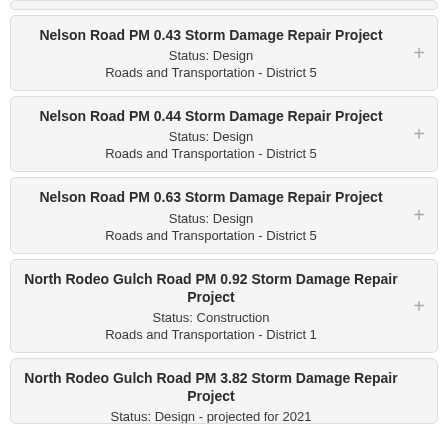Nelson Road PM 0.43 Storm Damage Repair Project
Status: Design
Roads and Transportation - District 5
Nelson Road PM 0.44 Storm Damage Repair Project
Status: Design
Roads and Transportation - District 5
Nelson Road PM 0.63 Storm Damage Repair Project
Status: Design
Roads and Transportation - District 5
North Rodeo Gulch Road PM 0.92 Storm Damage Repair Project
Status: Construction
Roads and Transportation - District 1
North Rodeo Gulch Road PM 3.82 Storm Damage Repair Project
Status: Design - projected for 2021